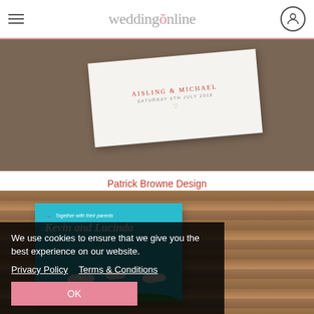weddingsonline
[Figure (photo): Wedding invitation card with text 'AISLING & MICHAEL' on a brown background, card is slightly tilted]
Patrick Browne Design
[Figure (photo): Colorful wedding invitation with 'Together with their parents Kevin and Lucinda' text on blue background with clouds and sun scene, placed on wooden surface]
We use cookies to ensure that we give you the best experience on our website.
Privacy Policy   Terms & Conditions
OK